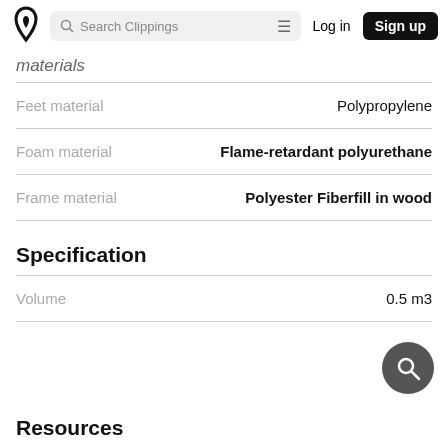Search Clippings | Log in | Sign up
Materials
| Property | Value |
| --- | --- |
| Feet material | Polypropylene |
| Foam material | Flame-retardant polyurethane |
| Frame material | Polyester Fiberfill in wood |
Specification
| Property | Value |
| --- | --- |
| Volume | 0.5 m3 |
Resources